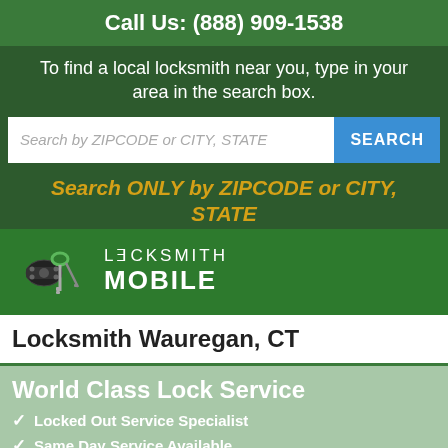Call Us: (888) 909-1538
To find a local locksmith near you, type in your area in the search box.
Search by ZIPCODE or CITY, STATE
SEARCH
Search ONLY by ZIPCODE or CITY, STATE
[Figure (logo): Locksmith Mobile logo with car keys graphic and text 'LOCKSMITH MOBILE']
Locksmith Wauregan, CT
World Class Lock Service
Locked Out Service Specialist
Same Day Service Available